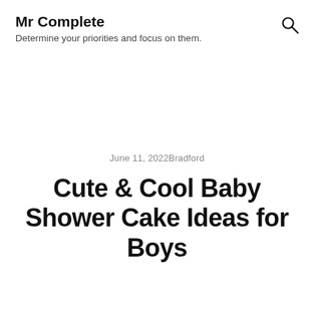Mr Complete
Determine your priorities and focus on them.
June 11, 2022   Bradford
Cute & Cool Baby Shower Cake Ideas for Boys